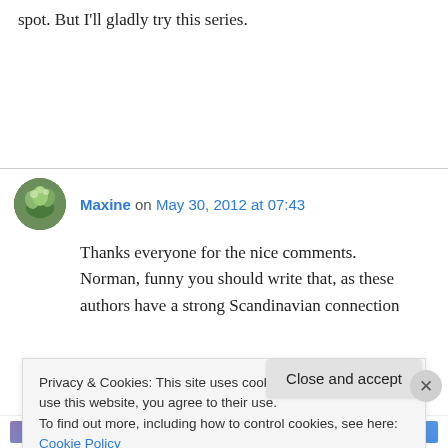spot. But I'll gladly try this series.
Maxine on May 30, 2012 at 07:43
Thanks everyone for the nice comments. Norman, funny you should write that, as these authors have a strong Scandinavian connection
Privacy & Cookies: This site uses cookies. By continuing to use this website, you agree to their use.
To find out more, including how to control cookies, see here: Cookie Policy
Close and accept